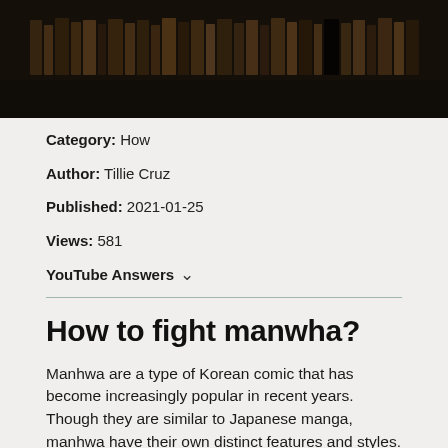[Figure (photo): Dark overhead photo of bookshelves filled with books, dimly lit library setting]
Category: How
Author: Tillie Cruz
Published: 2021-01-25
Views: 581
YouTube Answers ∨
How to fight manwha?
Manhwa are a type of Korean comic that has become increasingly popular in recent years. Though they are similar to Japanese manga, manhwa have their own distinct features and styles. If you're a fan of manhwa, you may be